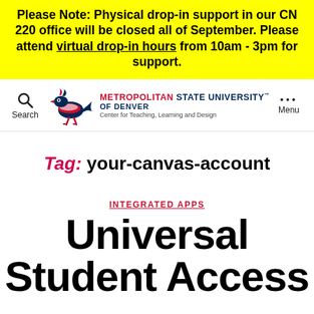Please Note: Physical drop-in support in our CN 220 office will be closed all of September. Please attend virtual drop-in hours from 10am - 3pm for support.
[Figure (logo): Metropolitan State University of Denver, Center for Teaching, Learning and Design logo with roadrunner mascot]
Tag: your-canvas-account
INTEGRATED APPS
Universal Student Access